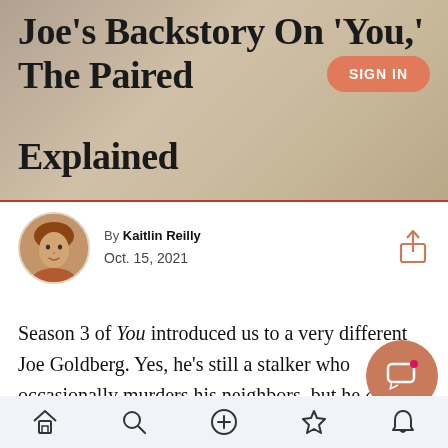Joe's Backstory On 'You,' The Paired Explained
By Kaitlin Reilly
Oct. 15, 2021
Season 3 of You introduced us to a very different Joe Goldberg. Yes, he's still a stalker who occasionally murders his neighbors, but he also has a new title: father. Joe's wife, Love Qu— birth to baby boy Henry sometime between the second and third season of the series, which
Home Search Add Bookmark Notification